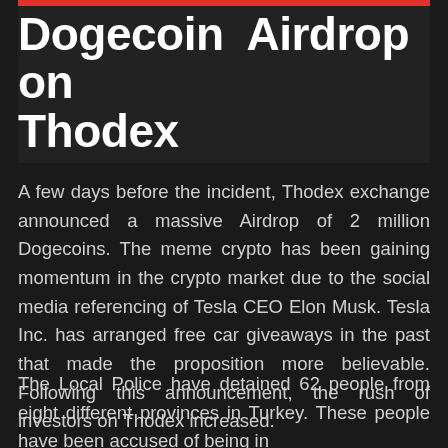Dogecoin Airdrop on Thodex
A few days before the incident, Thodex exchange announced a massive Airdrop of 2 million Dogecoins. The meme crypto has been gaining momentum in the crypto market due to the social media referencing of Tesla CEO Elon Musk. Tesla Inc. has arranged free car giveaways in the past that made the proposition more believable. Following this announcement, the rush of investors on Thodex increased.
The Local Police have detained 62 people from eight different provinces in Turkey. These people have been accused of being in